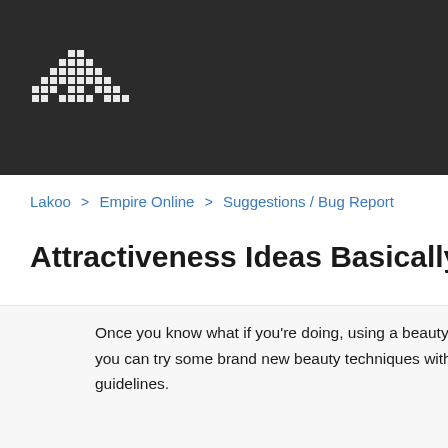[Figure (logo): Pixelated/dotted arrow or character logo in white dots on dark background]
Lakoo > Empire Online > Suggestions / Bug Report
Attractiveness Ideas Basically Like A Charm
Once you know what if you're doing, using a beauty routine can be you can try some brand new beauty techniques with confidence guidelines.